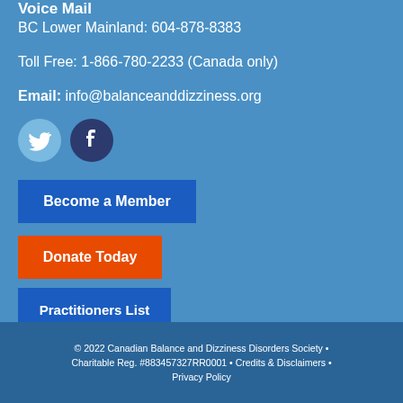Voice Mail
BC Lower Mainland: 604-878-8383
Toll Free: 1-866-780-2233 (Canada only)
Email: info@balanceanddizziness.org
[Figure (illustration): Twitter and Facebook social media icons]
Become a Member
Donate Today
Practitioners List
© 2022 Canadian Balance and Dizziness Disorders Society • Charitable Reg. #883457327RR0001 • Credits & Disclaimers • Privacy Policy